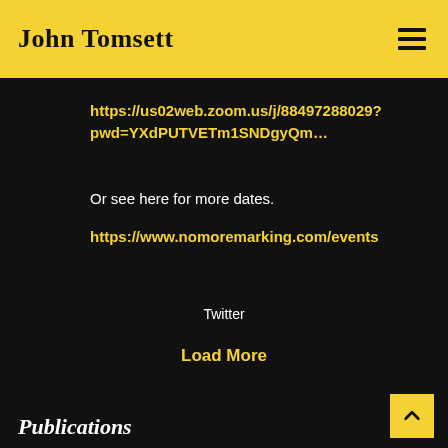John Tomsett
https://us02web.zoom.us/j/88497288029?pwd=YXdPUTVETm1SNDgyQm...
Or see here for more dates.
https://www.nomoremarking.com/events
Twitter
Load More
Publications